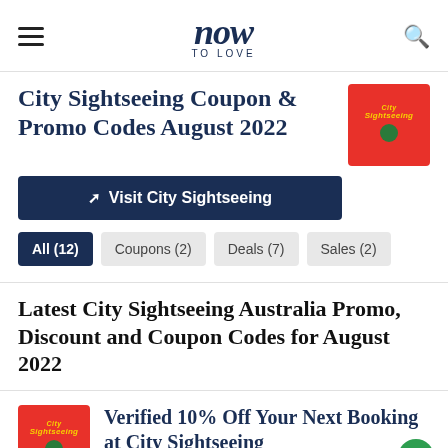now TO LOVE
City Sightseeing Coupon & Promo Codes August 2022
[Figure (logo): City Sightseeing brand logo on red background]
Visit City Sightseeing
All (12)
Coupons (2)
Deals (7)
Sales (2)
Latest City Sightseeing Australia Promo, Discount and Coupon Codes for August 2022
[Figure (logo): City Sightseeing brand logo on red background]
Verified 10% Off Your Next Booking at City Sightseeing